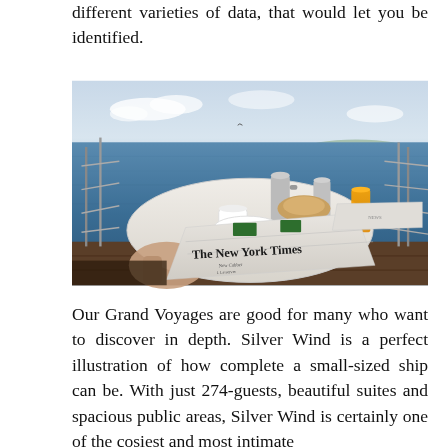different varieties of data, that would let you be identified.
[Figure (photo): A breakfast table set on a ship deck overlooking calm blue ocean water. The New York Times newspaper is visible in the foreground, along with coffee, orange juice, and various food items. Metal railing surrounds the deck.]
Our Grand Voyages are good for many who want to discover in depth. Silver Wind is a perfect illustration of how complete a small-sized ship can be. With just 274-guests, beautiful suites and spacious public areas, Silver Wind is certainly one of the cosiest and most intimate